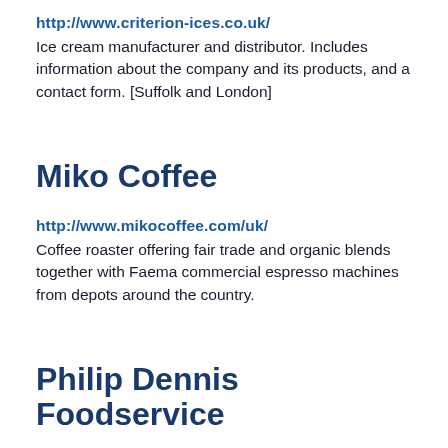http://www.criterion-ices.co.uk/
Ice cream manufacturer and distributor. Includes information about the company and its products, and a contact form. [Suffolk and London]
Miko Coffee
http://www.mikocoffee.com/uk/
Coffee roaster offering fair trade and organic blends together with Faema commercial espresso machines from depots around the country.
Philip Dennis Foodservice